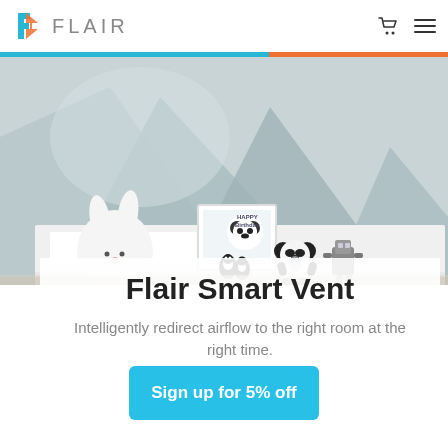FLAIR
[Figure (photo): Children's room with geometric mountain mural on wall, white bunny lamp, panda stuffed animal, and figurines on white dresser]
Flair Smart Vent
Intelligently redirect airflow to the right room at the right time.
Sign up for 5% off